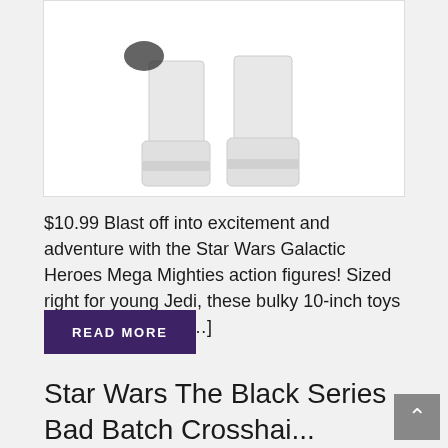[Figure (photo): Product image of Star Wars white armor boots/legs of an action figure against a white background]
$10.99 Blast off into excitement and adventure with the Star Wars Galactic Heroes Mega Mighties action figures! Sized right for young Jedi, these bulky 10-inch toys let boys and girls […]
READ MORE
Star Wars The Black Series Bad Batch Crosshai...